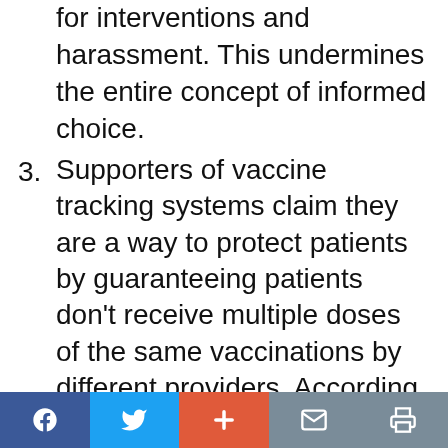for interventions and harassment.  This undermines the entire concept of informed choice.
3. Supporters of vaccine tracking systems claim they are a way to protect patients by guaranteeing patients don't receive multiple doses of the same vaccinations by different providers.  According to CDC's own statements, though, it's clear that one purpose of these registries is to create pressure on people who are unvaccinated or partially vaccinated.  CDC openly stated that vaccine registries are a tool to identify areas of "undervaccination" so they can be
social sharing bar: Facebook, Twitter, Plus, Mail, Print